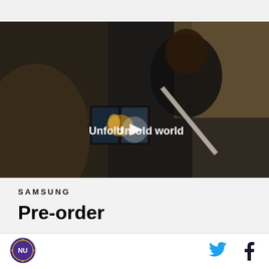[Figure (screenshot): Samsung video thumbnail showing a woman holding a foldable phone in a car, with text 'Unfold your world' and a play button overlay]
SAMSUNG
Pre-order
[Figure (logo): NU (Northeastern University) circular logo in purple and gold]
[Figure (logo): Twitter bird icon in cyan blue]
[Figure (logo): Facebook f icon in dark blue/black]